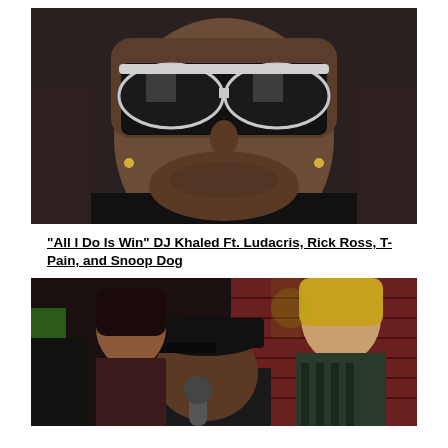[Figure (photo): Close-up photo of a man wearing large aviator-style sunglasses sitting in a car. He is wearing a black jacket and has small earrings. Dark interior background.]
“All I Do Is Win” DJ Khaled Ft. Ludacris, Rick Ross, T-Pain, and Snoop Dog
[Figure (photo): Photo of a man wearing a black cap holding a microphone, performing in a club-like setting with two women standing behind him. Brick wall visible in the background.]